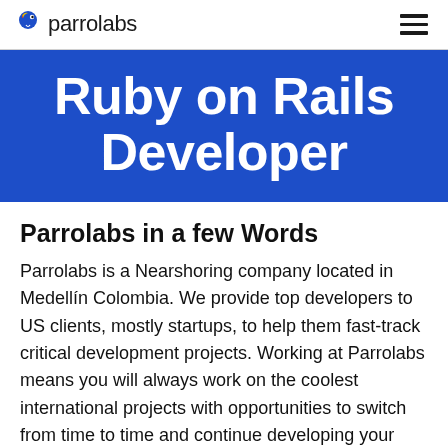parrolabs
Ruby on Rails Developer
Parrolabs in a few Words
Parrolabs is a Nearshoring company located in Medellín Colombia. We provide top developers to US clients, mostly startups, to help them fast-track critical development projects. Working at Parrolabs means you will always work on the coolest international projects with opportunities to switch from time to time and continue developing your profession.